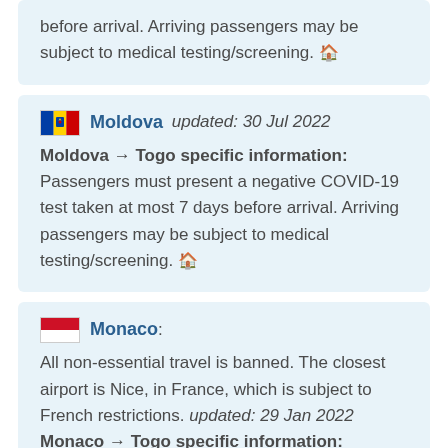before arrival. Arriving passengers may be subject to medical testing/screening. 🏠
Moldova updated: 30 Jul 2022
Moldova → Togo specific information: Passengers must present a negative COVID-19 test taken at most 7 days before arrival. Arriving passengers may be subject to medical testing/screening. 🏠
Monaco: All non-essential travel is banned. The closest airport is Nice, in France, which is subject to French restrictions. updated: 29 Jan 2022
Monaco → Togo specific information: